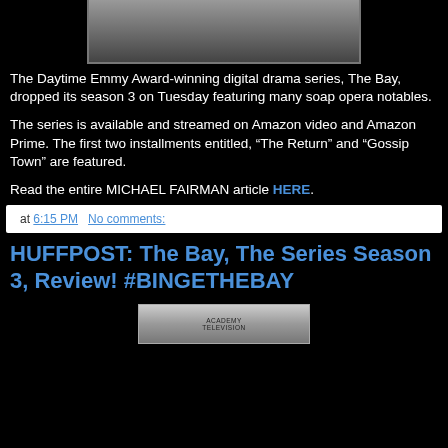[Figure (photo): Top portion of a photo showing a person, cropped at top of page]
The Daytime Emmy Award-winning digital drama series, The Bay, dropped its season 3 on Tuesday featuring many soap opera notables.
The series is available and streamed on Amazon video and Amazon Prime. The first two installments entitled, “The Return” and “Gossip Town” are featured.
Read the entire MICHAEL FAIRMAN article HERE.
at 6:15 PM    No comments:
HUFFPOST: The Bay, The Series Season 3, Review! #BINGETHEBAY
[Figure (photo): Bottom partial image showing what appears to be a television/media award related graphic with text TELEVISION]